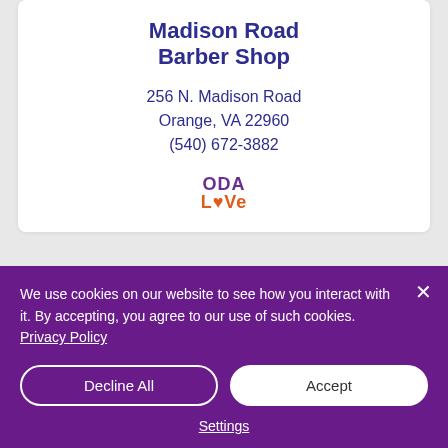Madison Road Barber Shop
256 N. Madison Road
Orange, VA 22960
(540) 672-3882
[Figure (logo): ODA LOVe logo with purple ODA text and orange LOVe text with heart shape]
[Figure (photo): Partial photo of red items on a surface, partially visible at bottom of page]
We use cookies on our website to see how you interact with it. By accepting, you agree to our use of such cookies. Privacy Policy
Decline All
Accept
Settings